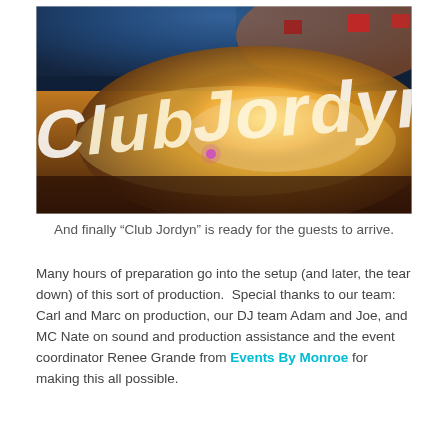[Figure (photo): A dance floor illuminated with projected light spelling out 'Club Jordyn' in large glowing letters, with colorful stage lighting effects visible in the background.]
And finally “Club Jordyn” is ready for the guests to arrive.
Many hours of preparation go into the setup (and later, the tear down) of this sort of production. Special thanks to our team: Carl and Marc on production, our DJ team Adam and Joe, and MC Nate on sound and production assistance and the event coordinator Renee Grande from Events By Monroe for making this all possible.